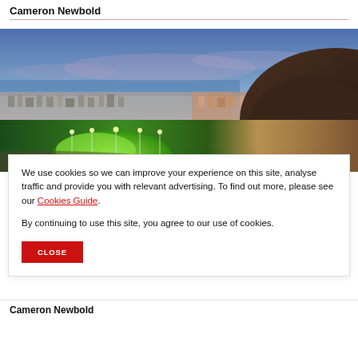Cameron Newbold
[Figure (photo): Aerial photograph of a coastal town at dusk/twilight, showing illuminated green sports fields in the foreground, urban residential areas in the middle ground, and a dark hill on the right with sea/ocean visible in the background under a blue-pink sky.]
We use cookies so we can improve your experience on this site, analyse traffic and provide you with relevant advertising. To find out more, please see our Cookies Guide.
By continuing to use this site, you agree to our use of cookies.
Cameron Newbold